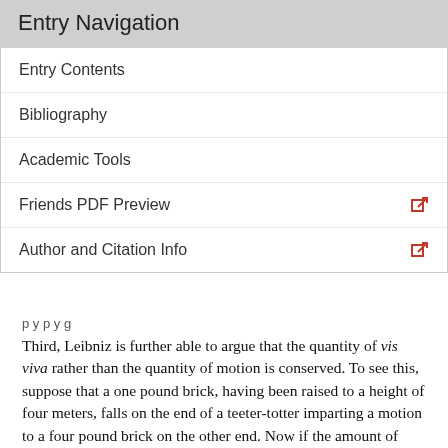Entry Navigation
Entry Contents
Bibliography
Academic Tools
Friends PDF Preview
Author and Citation Info
Third, Leibniz is further able to argue that the quantity of vis viva rather than the quantity of motion is conserved. To see this, suppose that a one pound brick, having been raised to a height of four meters, falls on the end of a teeter-totter imparting a motion to a four pound brick on the other end. Now if the amount of active force is conserved — if there is as much force in the effect as in the cause — then (by the first premise) the brick should be raised to a height of one meter. That being the case, however, it is clear from the preceding demonstrations